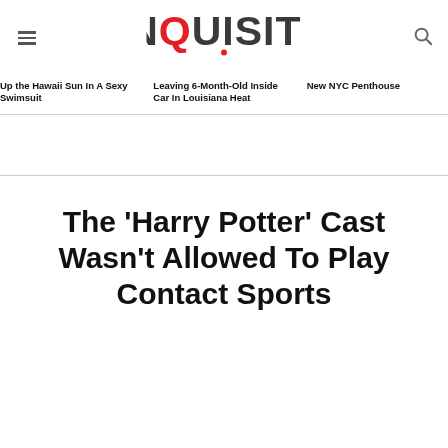INQUISITR
Up the Hawaii Sun In A Sexy Swimsuit
Leaving 6-Month-Old Inside Car In Louisiana Heat
New NYC Penthouse
The 'Harry Potter' Cast Wasn't Allowed To Play Contact Sports